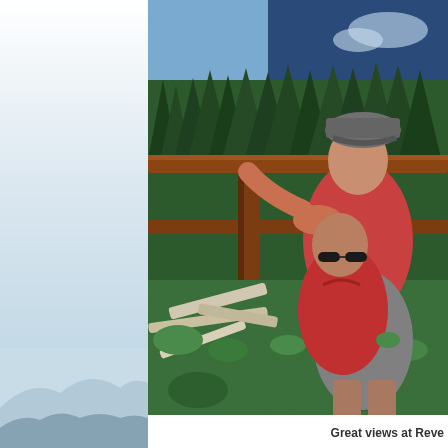[Figure (photo): Two people posing at a wooden railing overlook with a forested mountain background on a sunny day. One person in a red tank top and gray shorts stands behind another person wearing a red shirt and sunglasses. A gray baseball cap is worn by the taller person. Fallen logs and green shrubs are visible in the background along with tall evergreen trees under a blue sky.]
Great views at Reve